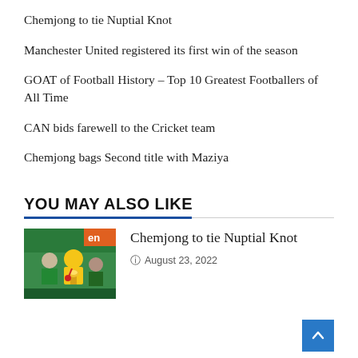Chemjong to tie Nuptial Knot
Manchester United registered its first win of the season
GOAT of Football History – Top 10 Greatest Footballers of All Time
CAN bids farewell to the Cricket team
Chemjong bags Second title with Maziya
YOU MAY ALSO LIKE
[Figure (photo): Photo of athletes celebrating with a trophy, a woman in yellow holding a trophy with a medal]
Chemjong to tie Nuptial Knot
August 23, 2022